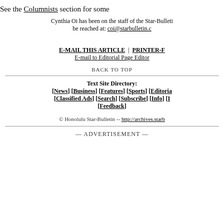See the Columnists section for some
Cynthia Oi has been on the staff of the Star-Bulletin ... be reached at: coi@starbulletin.c...
E-MAIL THIS ARTICLE | PRINTER-F... E-mail to Editorial Page Editor...
BACK TO TOP
Text Site Directory: [News] [Business] [Features] [Sports] [Editoria... [Classified Ads] [Search] [Subscribe] [Info] [I... [Feedback]
© Honolulu Star-Bulletin -- http://archives.starb...
— ADVERTISEMENT —